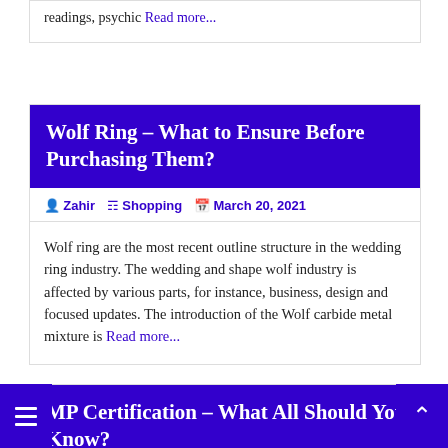readings, psychic Read more...
Wolf Ring – What to Ensure Before Purchasing Them?
Zahir  Shopping  March 20, 2021
Wolf ring are the most recent outline structure in the wedding ring industry. The wedding and shape wolf industry is affected by various parts, for instance, business, design and focused updates. The introduction of the Wolf carbide metal mixture is Read more...
MP Certification – What All Should You Know?